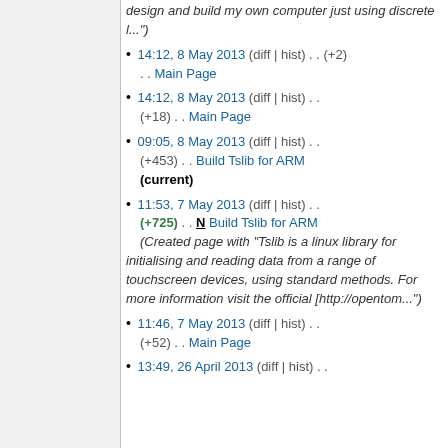design and build my own computer just using discrete l...")
14:12, 8 May 2013 (diff | hist) . . (+2) . . Main Page
14:12, 8 May 2013 (diff | hist) . . (+18) . . Main Page
09:05, 8 May 2013 (diff | hist) . . (+453) . . Build Tslib for ARM (current)
11:53, 7 May 2013 (diff | hist) . . (+725) . . N Build Tslib for ARM (Created page with "Tslib is a linux library for initialising and reading data from a range of touchscreen devices, using standard methods. For more information visit the official [http://opentom...")
11:46, 7 May 2013 (diff | hist) . . (+52) . . Main Page
13:49, 26 April 2013 (diff | hist) . .